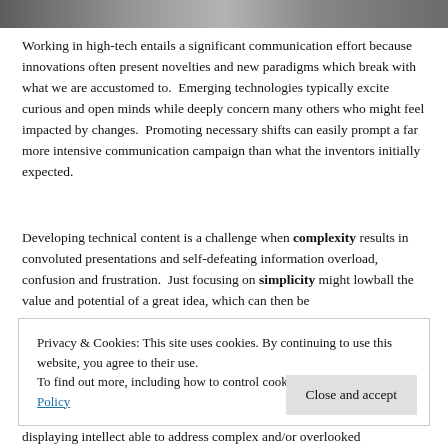[Figure (photo): A horizontal photo strip at the top of the page showing people in a high-tech or professional setting, partially cropped.]
Working in high-tech entails a significant communication effort because innovations often present novelties and new paradigms which break with what we are accustomed to.  Emerging technologies typically excite curious and open minds while deeply concern many others who might feel impacted by changes.  Promoting necessary shifts can easily prompt a far more intensive communication campaign than what the inventors initially expected.
Developing technical content is a challenge when complexity results in convoluted presentations and self-defeating information overload, confusion and frustration.  Just focusing on simplicity might lowball the value and potential of a great idea, which can then be
Privacy & Cookies: This site uses cookies. By continuing to use this website, you agree to their use.
To find out more, including how to control cookies, see here: Cookie Policy
displaying intellect able to address complex and/or overlooked